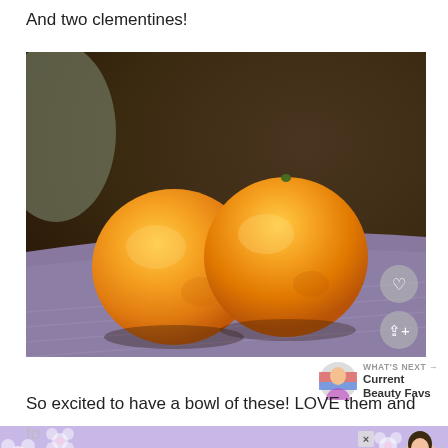And two clementines!
[Figure (photo): Two round orange clementines sitting side by side on a wooden cutting board, with a blurred background.]
So excited to have a bowl of these! LOVE them and
[Figure (infographic): Ad banner with purple background, white flower decorations, anime-style character and text reading STOP ASIAN HATE with a close (x) button.]